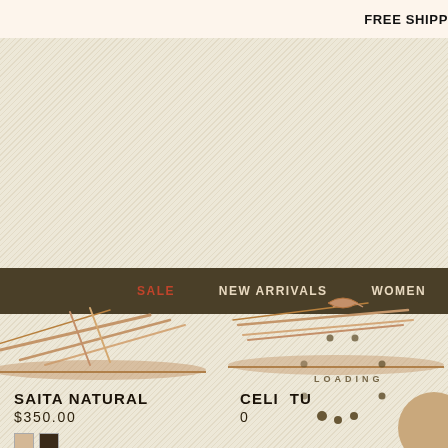FREE SHIPP
SALE   NEW ARRIVALS   WOMEN
LOADING
[Figure (photo): Flat sandal shoe product photo - SAITA NATURAL, side view on cream background]
SAITA NATURAL
$350.00
[Figure (photo): Flat sandal shoe product photo - CELIA TU[rquoise?], side view on cream background, partially obscured by color swatch circle]
CELI  TU
0